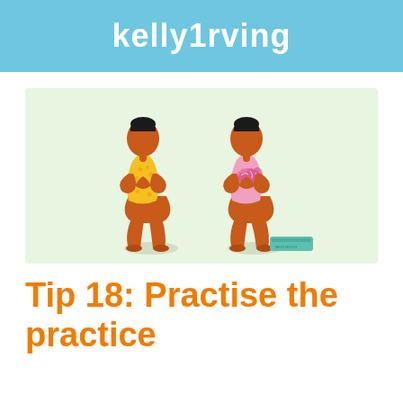KellyIrving
[Figure (illustration): Two illustrated figures in a squatting/crouching yoga or meditation pose on a light green background. The left figure wears a yellow patterned top and the right figure wears a pink top with a brain graphic on it. A small teal rectangular object (book or mat) is on the floor to the right of the second figure.]
Tip 18: Practise the practice